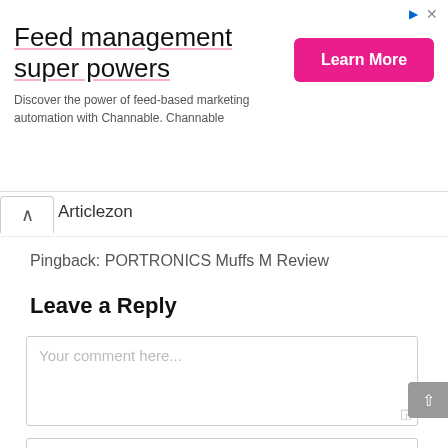[Figure (other): Advertisement banner: 'Feed management super powers' with pink underline, subtitle 'Discover the power of feed-based marketing automation with Channable. Channable', and a pink 'Learn More' button on the right.]
Articlezon
Pingback: PORTRONICS Muffs M Review
Leave a Reply
Your comment here...
Name (required)